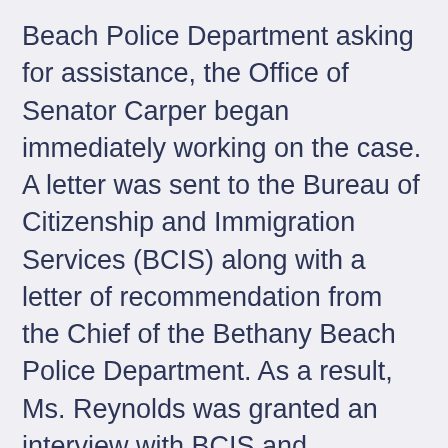Beach Police Department asking for assistance, the Office of Senator Carper began immediately working on the case. A letter was sent to the Bureau of Citizenship and Immigration Services (BCIS) along with a letter of recommendation from the Chief of the Bethany Beach Police Department. As a result, Ms. Reynolds was granted an interview with BCIS and subsequently obtained her naturalization. "As a police officer in Sussex County, Ms. Reynolds has served her community well," said Carper. "We are pleased to have been able to make a difference in the life of someone who is making a difference in our community. My staff and I are thrilled for Ms. Reynolds and the entire Bethany Beach Police Department." In March of